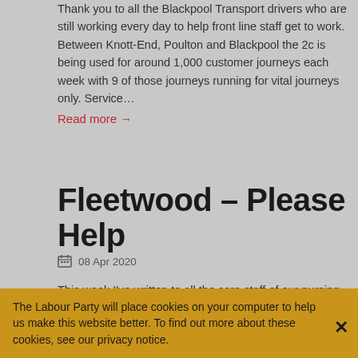Thank you to all the Blackpool Transport drivers who are still working every day to help front line staff get to work. Between Knott-End, Poulton and Blackpool the 2c is being used for around 1,000 customer journeys each week with 9 of those journeys running for vital journeys only. Service...
Read more →
Fleetwood – Please Help
08 Apr 2020
This week I've written to all the care staff of our nursing homes across the constituency thanking them for all they are doing to protect and look after the elderly residents they
The Labour Party will place cookies on your computer to help us make this website better. To find out more about these cookies, see our privacy notice.